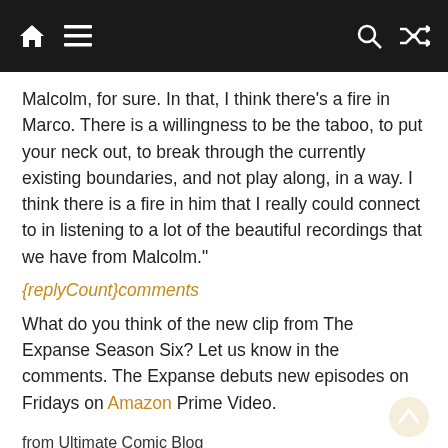[navigation bar with home, menu, search, shuffle icons]
Malcolm, for sure. In that, I think there’s a fire in Marco. There is a willingness to be the taboo, to put your neck out, to break through the currently existing boundaries, and not play along, in a way. I think there is a fire in him that I really could connect to in listening to a lot of the beautiful recordings that we have from Malcolm.”
{replyCount}comments
What do you think of the new clip from The Expanse Season Six? Let us know in the comments. The Expanse debuts new episodes on Fridays on Amazon Prime Video.
from Ultimate Comic Blog
https://ift.tt/3DW8GP3